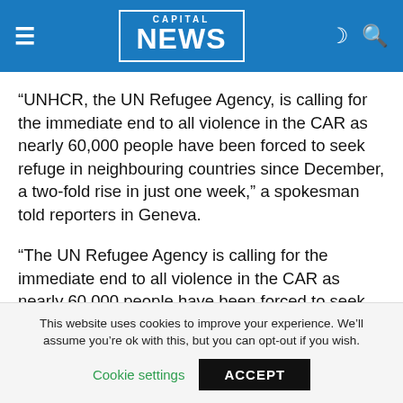CAPITAL NEWS
“UNHCR, the UN Refugee Agency, is calling for the immediate end to all violence in the CAR as nearly 60,000 people have been forced to seek refuge in neighbouring countries since December, a two-fold rise in just one week,” a spokesman told reporters in Geneva.
“The UN Refugee Agency is calling for the immediate end to all violence in the CAR as nearly 60,000 people have been forced to seek refuge in neighbouring countries since December, a two-fold rise in just one week,” UNHCR spokesman Boris Cheshirkov told reporters in Geneva.
This website uses cookies to improve your experience. We’ll assume you’re ok with this, but you can opt-out if you wish. Cookie settings ACCEPT